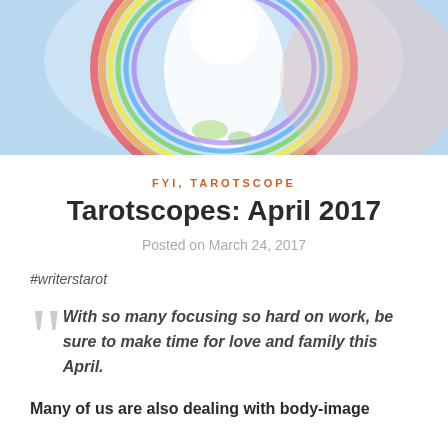[Figure (illustration): Colorful abstract illustration with rainbow/halo circular motif on a light blue background, partially cropped at top]
FYI, TAROTSCOPE
Tarotscopes: April 2017
Posted on March 24, 2017
#writerstarot
With so many focusing so hard on work, be sure to make time for love and family this April.
Many of us are also dealing with body-image